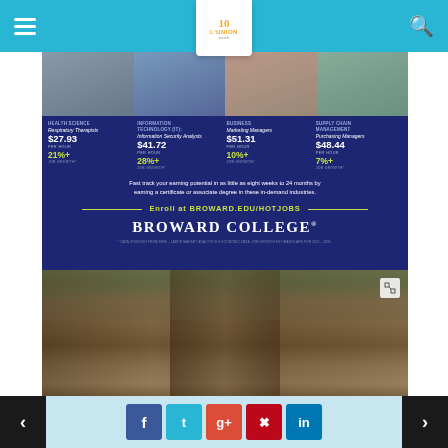L'UNION navigation bar with hamburger menu and search icon
[Figure (infographic): Broward College advertisement showing health science, information technology, business, and supply chain management career paths with salaries and job growth percentages. Health Science: Respiratory Therapists $27.93/hr 21%+ job growth. Information Technology (IT): Information Security Analysts $41.72/hr 28%+ job growth. Business: Marketing Managers $51.31/hr 10%+ job growth. Supply Chain Management: Purchasing Managers $48.44/hr 7%+ job growth. Fast track your earning potential in as little as eight weeks to 24 months by earning a certificate or associate degree in these in-demand industries. Enroll at BROWARD.EDU/HOTJOBS. BROWARD COLLEGE.]
[Figure (photo): Photograph of large tree with Spanish moss and vines, nature scene]
Navigation buttons: previous, Facebook, Twitter, Google+, Pinterest, LinkedIn, next